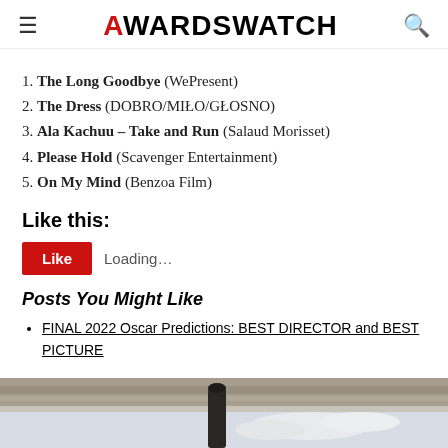AwardsWatch
1. The Long Goodbye (WePresent)
2. The Dress (DOBRO/MIŁO/GŁOSNO)
3. Ala Kachuu – Take and Run (Salaud Morisset)
4. Please Hold (Scavenger Entertainment)
5. On My Mind (Benzoa Film)
Like this:
Like   Loading...
Posts You Might Like
FINAL 2022 Oscar Predictions: BEST DIRECTOR and BEST PICTURE
[Figure (photo): Partial image of a film or event related photograph, showing a dark cylindrical object against a sky background]